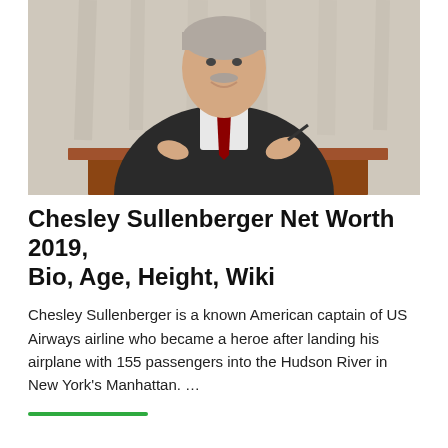[Figure (photo): A man in a dark suit and red tie sits at a wooden desk, signing or writing in a book. He has gray hair and a white shirt. The background shows white curtains.]
Chesley Sullenberger Net Worth 2019, Bio, Age, Height, Wiki
Chesley Sullenberger is a known American captain of US Airways airline who became a heroe after landing his airplane with 155 passengers into the Hudson River in New York's Manhattan. …